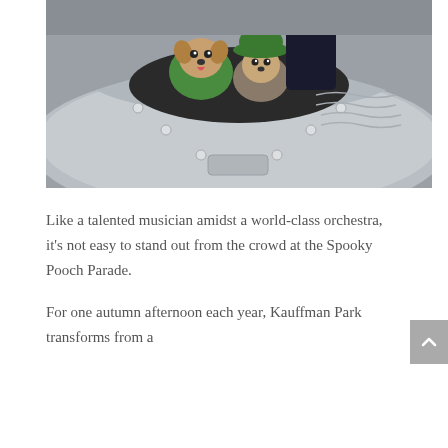[Figure (photo): Two small dogs (chihuahuas) wearing Halloween costumes — one in a green costume and one in a green Luigi-style hat — peeking out from inside a silver metallic UFO-shaped or drum-shaped prop/ride. The object has rivets and a textured metallic surface.]
Like a talented musician amidst a world-class orchestra, it's not easy to stand out from the crowd at the Spooky Pooch Parade.
For one autumn afternoon each year, Kauffman Park transforms from a